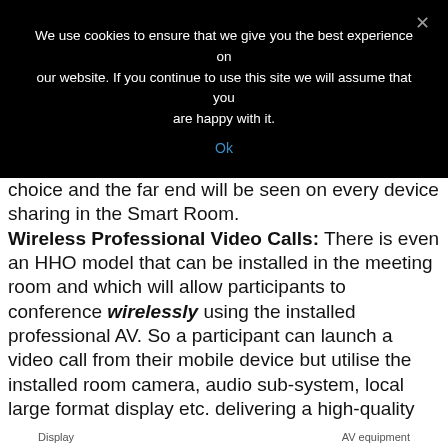We use cookies to ensure that we give you the best experience on our website. If you continue to use this site we will assume that you are happy with it.
Ok
choice and the far end will be seen on every device sharing in the Smart Room. Wireless Professional Video Calls: There is even an HHO model that can be installed in the meeting room and which will allow participants to conference wirelessly using the installed professional AV. So a participant can launch a video call from their mobile device but utilise the installed room camera, audio sub-system, local large format display etc. delivering a high-quality professional collaboration session which can still be viewed simultaneously by any local participant on their own mobile device if they wish.
Display    AV equipment